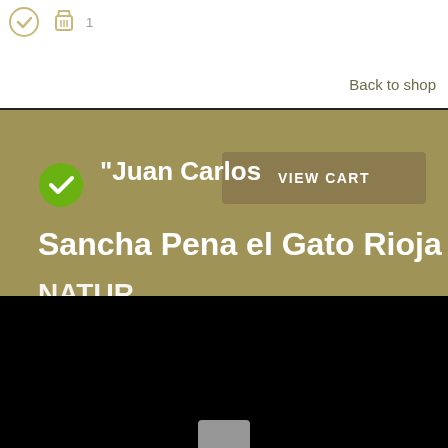Back to shop
[Figure (screenshot): Green checkmark circle icon indicating item added to cart]
VIEW CART
"Juan Carlos Sancha Pena el Gato Rioja
This website uses cookies to ensure you get the best experience on our website.
Learn more
Accept